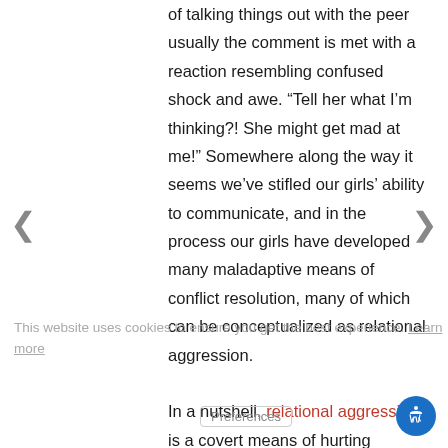of talking things out with the peer usually the comment is met with a reaction resembling confused shock and awe. “Tell her what I’m thinking?! She might get mad at me!” Somewhere along the way it seems we’ve stifled our girls’ ability to communicate, and in the process our girls have developed many maladaptive means of conflict resolution, many of which can be conceptualized as relational aggression. In a nutshell, relational aggression is a covert means of hurting another through behaviors such as excluding, ignoring, gossiping or manipulation. When adults help girls to navigate the territory of speaking up for themselves in a